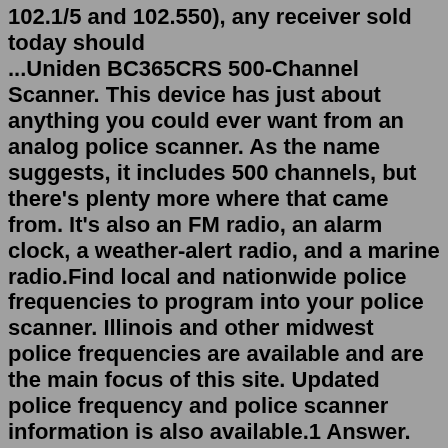102.1/5 and 102.550), any receiver sold today should ...Uniden BC365CRS 500-Channel Scanner. This device has just about anything you could ever want from an analog police scanner. As the name suggests, it includes 500 channels, but there's plenty more where that came from. It's also an FM radio, an alarm clock, a weather-alert radio, and a marine radio.Find local and nationwide police frequencies to program into your police scanner. Illinois and other midwest police frequencies are available and are the main focus of this site. Updated police frequency and police scanner information is also available.1 Answer. To calculate the wavelength of a radio wave, you will be using the equation: Speed of a wave = wavelength X frequency. Since radio waves are electromagnetic waves and travel at 2.997 X 108 meters/second, then you will need to know the frequency of the radio wave. If the radio wave is on an FM station, these are in Megahertz.The low-end scanners only display the radio frequency. The mid-range and high-end also allow you to program (from the front keypad of the